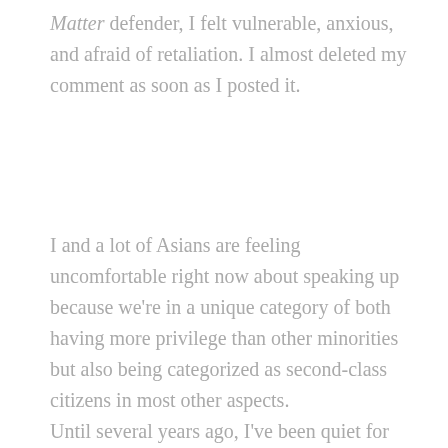Matter defender, I felt vulnerable, anxious, and afraid of retaliation. I almost deleted my comment as soon as I posted it.
I and a lot of Asians are feeling uncomfortable right now about speaking up because we're in a unique category of both having more privilege than other minorities but also being categorized as second-class citizens in most other aspects.
Until several years ago, I've been quiet for so